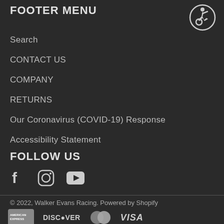FOOTER MENU
Search
CONTACT US
COMPANY
RETURNS
Our Coronavirus (COVID-19) Response
Accessibility Statement
[Figure (logo): Accessibility icon — person in wheelchair inside a circle]
FOLLOW US
[Figure (infographic): Social media icons: Facebook, Instagram, YouTube]
© 2022, Walker Evans Racing. Powered by Shopify
[Figure (infographic): Payment method icons: American Express, Discover, MasterCard, Visa]